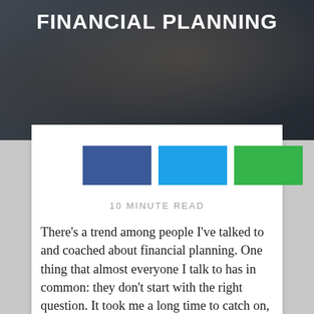FINANCIAL PLANNING
[Figure (illustration): Hero image background with dark overlay showing people, partially obscured]
[Figure (other): Three social share buttons: Facebook (dark blue), Twitter (light blue), Google+ (green)]
10 MINUTE READ
There’s a trend among people I’ve talked to and coached about financial planning. One thing that almost everyone I talk to has in common: they don’t start with the right question. It took me a long time to catch on, and I still don’t always start with the right question.